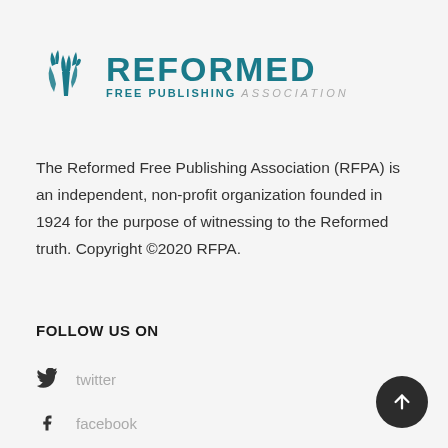[Figure (logo): Reformed Free Publishing Association logo with tulip icon and teal text]
The Reformed Free Publishing Association (RFPA) is an independent, non-profit organization founded in 1924 for the purpose of witnessing to the Reformed truth. Copyright ©2020 RFPA.
FOLLOW US ON
twitter
facebook